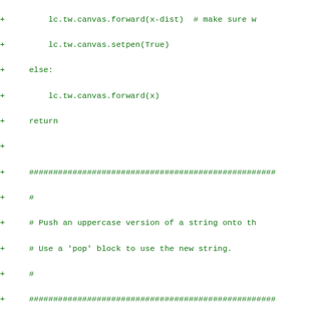Code diff showing Python code additions with + prefix. Contains canvas forward/setpen operations, comment blocks about pushing uppercase string version, commented-out code, and comment blocks about pushing hours/minutes/seconds onto FILO stack.